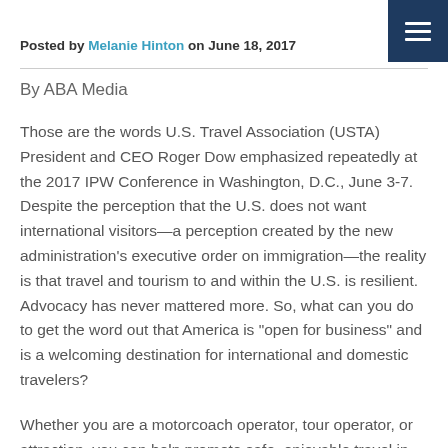Posted by Melanie Hinton on June 18, 2017
By ABA Media
Those are the words U.S. Travel Association (USTA) President and CEO Roger Dow emphasized repeatedly at the 2017 IPW Conference in Washington, D.C., June 3-7. Despite the perception that the U.S. does not want international visitors—a perception created by the new administration's executive order on immigration—the reality is that travel and tourism to and within the U.S. is resilient. Advocacy has never mattered more. So, what can you do to get the word out that America is “open for business” and is a welcoming destination for international and domestic travelers?
Whether you are a motorcoach operator, tour operator, or attraction, you can help promote safe, enjoyable travel in the U.S. The most effective tool for spreading the message